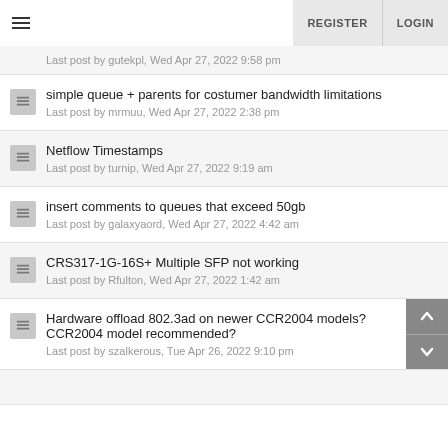REGISTER  LOGIN
Last post by gutekpl, Wed Apr 27, 2022 9:58 pm
simple queue + parents for costumer bandwidth limitations
Last post by mrmuu, Wed Apr 27, 2022 2:38 pm
Netflow Timestamps
Last post by turnip, Wed Apr 27, 2022 9:19 am
insert comments to queues that exceed 50gb
Last post by galaxyaord, Wed Apr 27, 2022 4:42 am
CRS317-1G-16S+ Multiple SFP not working
Last post by Rfulton, Wed Apr 27, 2022 1:42 am
Hardware offload 802.3ad on newer CCR2004 models? CCR2004 model recommended?
Last post by szalkerous, Tue Apr 26, 2022 9:10 pm